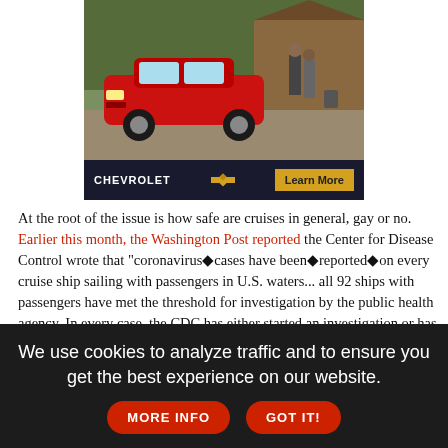[Figure (photo): Chevrolet advertisement showing a red SUV (Equinox) parked in front of a house with two people with luggage, Chevrolet logo and bowtie emblem, and a 'Learn More' button on a gold background]
At the root of the issue is how safe are cruises in general, gay or no. Earlier this month, the Washington Post reported the Center for Disease Control wrote that "coronavirus◆cases have been◆reported◆on every cruise ship sailing with passengers in U.S. waters... all 92 ships with passengers have met the threshold for investigation by the public health agency. In every case, the CDC has either started an investigation or has investigated and continues to observe the ship."
We use cookies to analyze traffic and to ensure you get the best experience on our website. MORE INFO GOT IT!